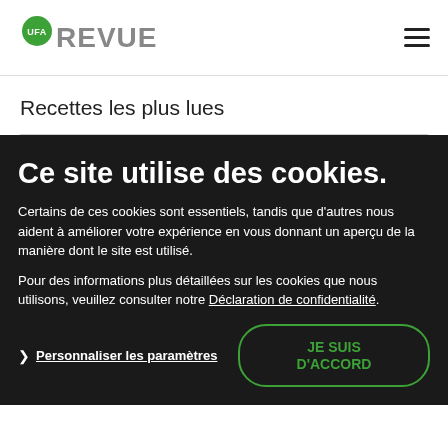UFA REVUE
Recettes les plus lues
Ce site utilise des cookies.
Certains de ces cookies sont essentiels, tandis que d'autres nous aident à améliorer votre expérience en vous donnant un aperçu de la manière dont le site est utilisé.
Pour des informations plus détaillées sur les cookies que nous utilisons, veuillez consulter notre Déclaration de confidentialité.
Personnaliser les paramètres
JE SUIS D'ACCORD